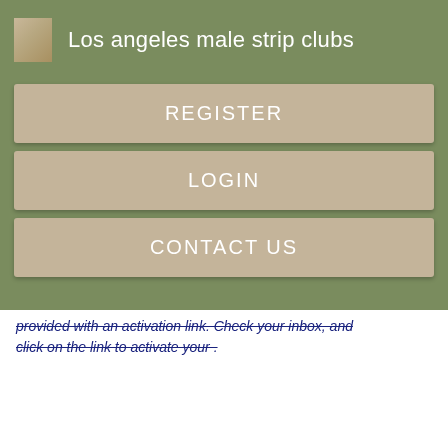Los angeles male strip clubs
REGISTER
LOGIN
CONTACT US
provided with an activation link. Check your inbox, and click on the link to activate your .
[Figure (screenshot): Dark gray banner with white bold text reading 'Register NOW' at the bottom]